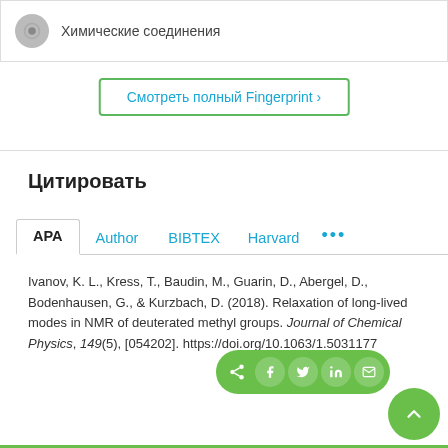Химические соединения
Смотреть полный Fingerprint ›
Цитировать
APA | Author | BIBTEX | Harvard | ...
Ivanov, K. L., Kress, T., Baudin, M., Guarin, D., Abergel, D., Bodenhausen, G., & Kurzbach, D. (2018). Relaxation of long-lived modes in NMR of deuterated methyl groups. Journal of Chemical Physics, 149(5), [054202]. https://doi.org/10.1063/1.5031177